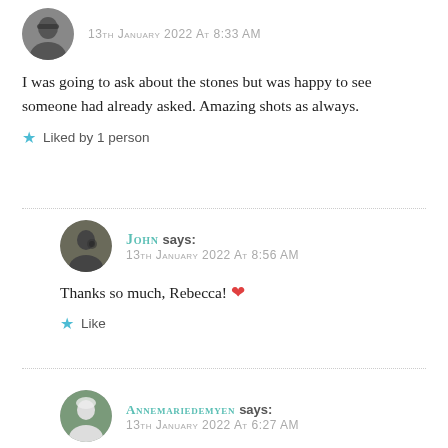[Figure (photo): Circular avatar photo of a woman with sunglasses]
13th January 2022 At 8:33 AM
I was going to ask about the stones but was happy to see someone had already asked. Amazing shots as always.
★ Liked by 1 person
[Figure (photo): Circular avatar photo of a man with a camera]
JOHN SAYS:
13th January 2022 At 8:56 AM
Thanks so much, Rebecca! ❤
★ Like
[Figure (photo): Circular avatar photo of a woman with white hair]
ANNEMARIEDEMYEN SAYS:
13th January 2022 At 6:27 AM